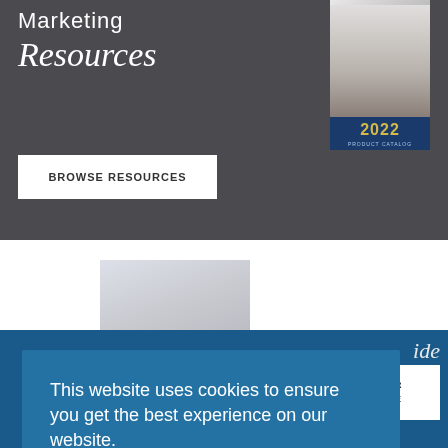Marketing Resources
BROWSE RESOURCES
[Figure (photo): 2022 product catalog cover showing kitchen with bar stools and island]
[Figure (photo): Kitchen interior with white cabinets]
This website uses cookies to ensure you get the best experience on our website.
Learn more
Got it